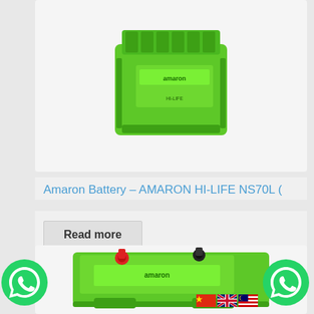[Figure (photo): Green Amaron HI-LIFE NS70L car battery viewed from above at an angle, showing the green ribbed plastic casing with brand markings on top.]
Amaron Battery – AMARON HI-LIFE NS70L (
Read more
[Figure (photo): Green Amaron car battery viewed from the top/side showing red and black terminal posts and brand label on a green plastic case.]